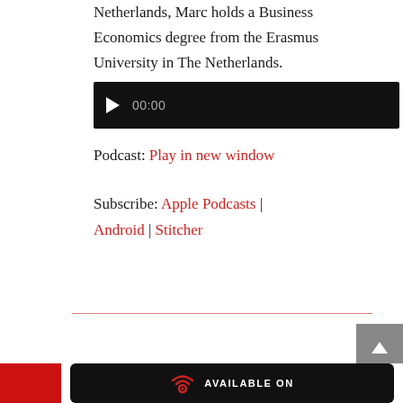Netherlands, Marc holds a Business Economics degree from the Erasmus University in The Netherlands.
[Figure (screenshot): Audio player widget with black background, play button (triangle), and time display showing 00:00]
Podcast: Play in new window
Subscribe: Apple Podcasts | Android | Stitcher
[Figure (other): Horizontal red separator line]
[Figure (other): Back to top button - grey square with upward arrow]
[Figure (other): Footer with red block on left and black rounded badge with radio icon and AVAILABLE ON text]